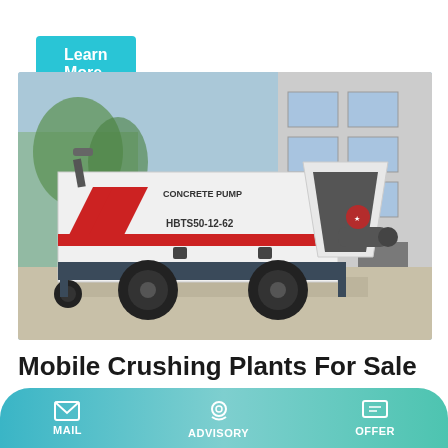Learn More
[Figure (photo): White concrete pump machine labeled 'CONCRETE PUMP' and 'HBTS50-12-62' with red chevron stripe design, large black tires, and hopper, parked on concrete surface in front of industrial building]
Mobile Crushing Plants For Sale In Port Shepstone
MAIL   ADVISORY   OFFER